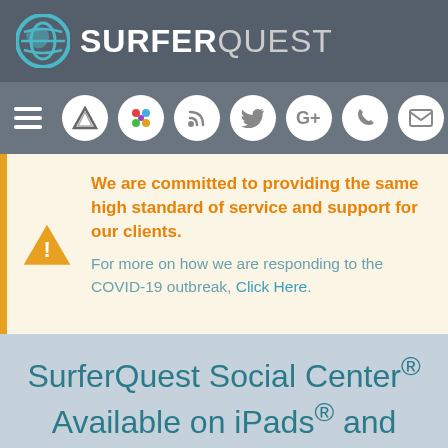[Figure (logo): SurferQuest logo with circular globe icon and SURFERQUEST text in white on dark gray header bar]
[Figure (screenshot): Navigation bar with hamburger menu and social media icon buttons (Acadia, colorful dots, RSS, Twitter, Google+, phone, email) on medium gray background]
We are committed to providing the same high standard of service and support for our clients. For more on how we are responding to the COVID-19 outbreak, Click Here.
SurferQuest Social Center® Available on iPads® and Windows® Tablets